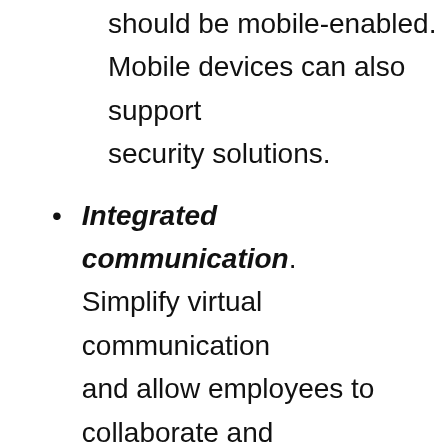should be mobile-enabled. Mobile devices can also support security solutions.
Integrated communication. Simplify virtual communication and allow employees to collaborate and communicate easily. Tools like Google Suite, Slack, and Skype help facilitate easy collaboration.
Do you have top IT talent ready to help your business thrive from